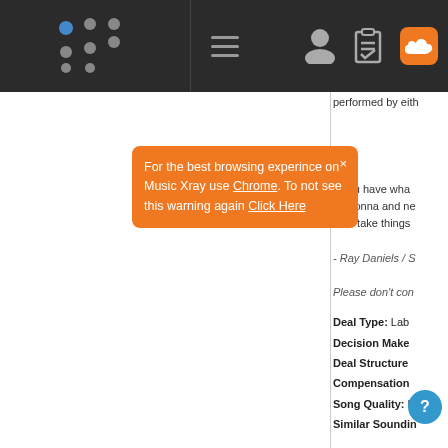[Figure (screenshot): Music Xray website screenshot showing navigation bar with logo, hamburger menu, person icon, clipboard icon, and SoundCloud icon. An orange tooltip popup says 'For the best browsing experince on Music Xray use Chrome. To not see this warning again Click Here'. Right panel shows partial text about performed by either, Ray Daniels quote, Please don't contact text, and deal info fields: Deal Type, Decision Maker, Deal Structure, Compensation, Song Quality, Similar Sounding.]